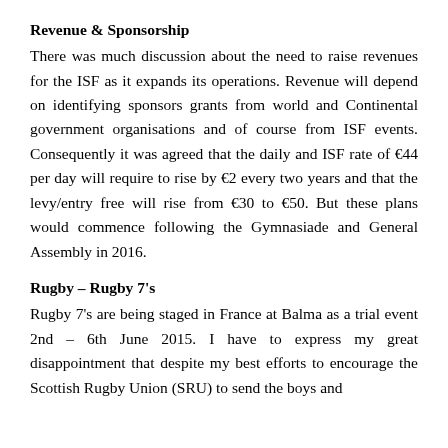Revenue & Sponsorship
There was much discussion about the need to raise revenues for the ISF as it expands its operations. Revenue will depend on identifying sponsors grants from world and Continental government organisations and of course from ISF events. Consequently it was agreed that the daily and ISF rate of €44 per day will require to rise by €2 every two years and that the levy/entry free will rise from €30 to €50. But these plans would commence following the Gymnasiade and General Assembly in 2016.
Rugby – Rugby 7's
Rugby 7's are being staged in France at Balma as a trial event 2nd – 6th June 2015. I have to express my great disappointment that despite my best efforts to encourage the Scottish Rugby Union (SRU) to send the boys and